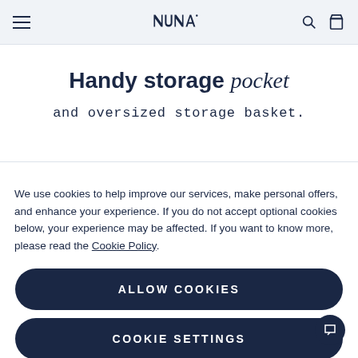Nuna — navigation header with menu, logo, search and cart icons
Handy storage pocket
and oversized storage basket.
We use cookies to help improve our services, make personal offers, and enhance your experience. If you do not accept optional cookies below, your experience may be affected. If you want to know more, please read the Cookie Policy.
ALLOW COOKIES
COOKIE SETTINGS